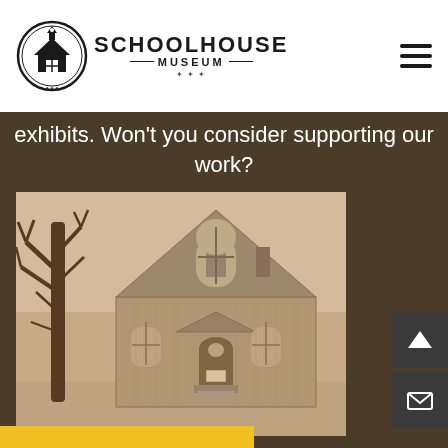Schoolhouse Museum
exhibits. Won't you consider supporting our work?
[Figure (photo): Sepia-toned historical photograph of a wooden schoolhouse building with a peaked Gothic-style roof, arched windows, front entrance steps, and a large bare tree to the left, taken in winter with snow on the ground.]